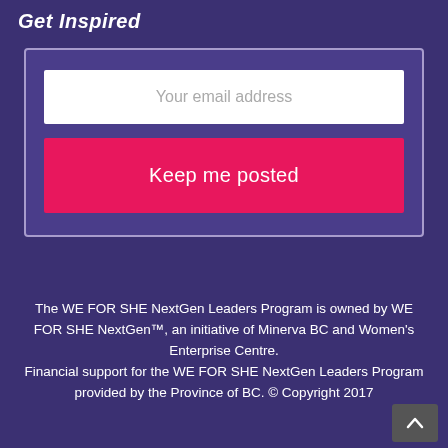Get Inspired
Your email address
Keep me posted
The WE FOR SHE NextGen Leaders Program is owned by WE FOR SHE NextGen™, an initiative of Minerva BC and Women's Enterprise Centre.
Financial support for the WE FOR SHE NextGen Leaders Program provided by the Province of BC. © Copyright 2017